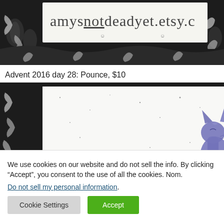[Figure (photo): Top portion of an Etsy shop banner showing 'amysnotdeadyet.etsy.c' text on a light background, framed with black decorative floral border]
Advent 2016 day 28: Pounce, $10
[Figure (photo): Drawing of a purple/violet cat sitting and looking upward, on a white background with small dots/specks, framed by black decorative floral border. A number '2' is partially visible on the right edge.]
We use cookies on our website and do not sell the info. By clicking “Accept”, you consent to the use of all the cookies. Nom.
Do not sell my personal information.
Cookie Settings
Accept